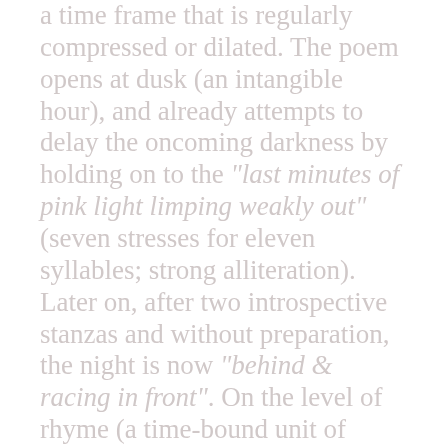a time frame that is regularly compressed or dilated. The poem opens at dusk (an intangible hour), and already attempts to delay the oncoming darkness by holding on to the "last minutes of pink light limping weakly out" (seven stresses for eleven syllables; strong alliteration). Later on, after two introspective stanzas and without preparation, the night is now "behind & racing in front". On the level of rhyme (a time-bound unit of measure), the poem plays further tricks on the reader. The first four lines work in a sense of regularity in its straightforward ABAB scheme, while the fifth ends in "cease", a slant rhyme on "sunshine", which undermines any sense of stability but rather opens into another sound system, later chiming with "caught" and...